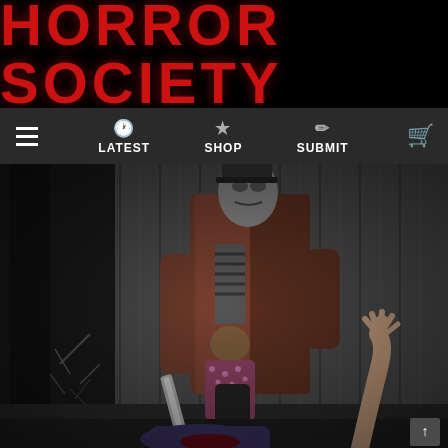HORROR SOCIETY
LATEST  SHOP  SUBMIT
[Figure (photo): Horror scene showing a masked villain figure in a brown coat standing over a victim near a weathered wooden barn wall, holding a machete, with a hand reaching up from the ground.]